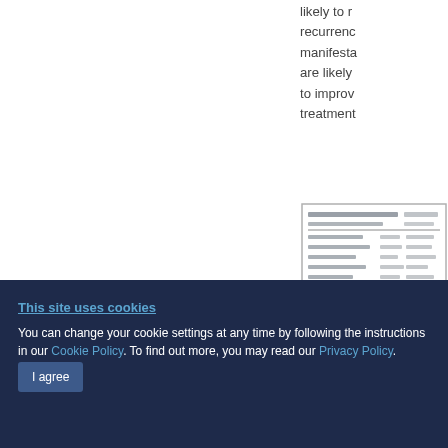likely to recurrence manifestations are likely to improve treatment
[Figure (table-as-image): Thumbnail of a data table with rows and columns of text, partially visible]
This study 81201903
This site uses cookies
You can change your cookie settings at any time by following the instructions in our Cookie Policy. To find out more, you may read our Privacy Policy.
I agree